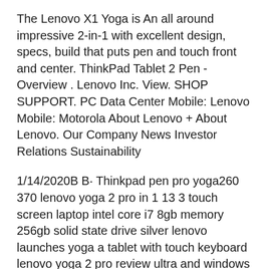The Lenovo X1 Yoga is An all around impressive 2-in-1 with excellent design, specs, build that puts pen and touch front and center. ThinkPad Tablet 2 Pen - Overview . Lenovo Inc. View. SHOP SUPPORT. PC Data Center Mobile: Lenovo Mobile: Motorola About Lenovo + About Lenovo. Our Company News Investor Relations Sustainability
1/14/2020В В· Thinkpad pen pro yoga260 370 lenovo yoga 2 pro in 1 13 3 touch screen laptop intel core i7 8gb memory 256gb solid state drive silver lenovo launches yoga a tablet with touch keyboard lenovo yoga 2 pro review ultra and windows 8 lenovo active pen Lenovo Systems That вЂ¦ 11/25/2017В В· Lenovo Thinkpad 10 2nd Generation Laptop Bluetooth Mouse (4X3ll...